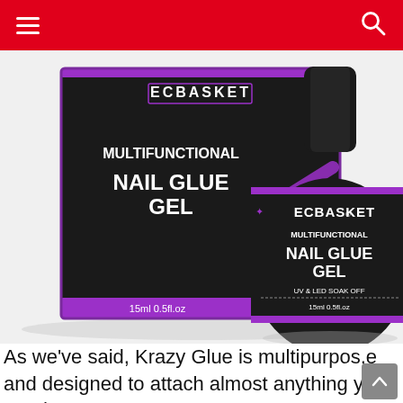Navigation header with hamburger menu and search icon on red background
[Figure (photo): Product photo of ECBASKET Multifunctional Nail Glue Gel 15ml 0.5fl.oz bottle (black with purple label) next to its black and purple product box, on a light gray background.]
As we've said, Krazy Glue is multipurpos,e and designed to attach almost anything you need to